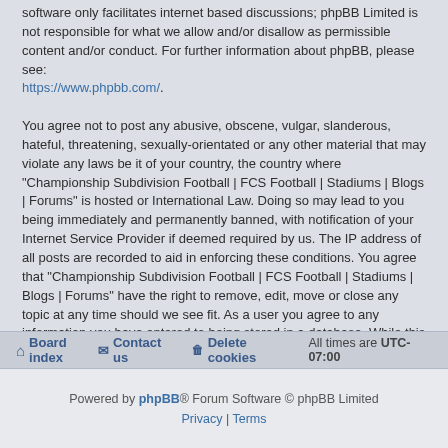software only facilitates internet based discussions; phpBB Limited is not responsible for what we allow and/or disallow as permissible content and/or conduct. For further information about phpBB, please see: https://www.phpbb.com/.
You agree not to post any abusive, obscene, vulgar, slanderous, hateful, threatening, sexually-orientated or any other material that may violate any laws be it of your country, the country where "Championship Subdivision Football | FCS Football | Stadiums | Blogs | Forums" is hosted or International Law. Doing so may lead to you being immediately and permanently banned, with notification of your Internet Service Provider if deemed required by us. The IP address of all posts are recorded to aid in enforcing these conditions. You agree that "Championship Subdivision Football | FCS Football | Stadiums | Blogs | Forums" have the right to remove, edit, move or close any topic at any time should we see fit. As a user you agree to any information you have entered to being stored in a database. While this information will not be disclosed to any third party without your consent, neither "Championship Subdivision Football | FCS Football | Stadiums | Blogs | Forums" nor phpBB shall be held responsible for any hacking attempt that may lead to the data being compromised.
Board index | Contact us | Delete cookies | All times are UTC-07:00
Powered by phpBB® Forum Software © phpBB Limited | Privacy | Terms